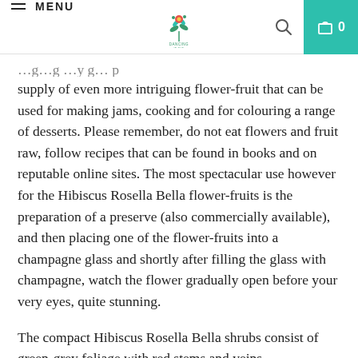MENU [logo] [search] [cart 0]
supply of even more intriguing flower-fruit that can be used for making jams, cooking and for colouring a range of desserts. Please remember, do not eat flowers and fruit raw, follow recipes that can be found in books and on reputable online sites. The most spectacular use however for the Hibiscus Rosella Bella flower-fruits is the preparation of a preserve (also commercially available), and then placing one of the flower-fruits into a champagne glass and shortly after filling the glass with champagne, watch the flower gradually open before your very eyes, quite stunning.
The compact Hibiscus Rosella Bella shrubs consist of green-grey foliage with red stems and veins,